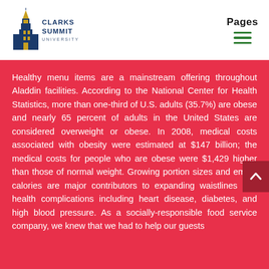[Figure (logo): Clarks Summit University logo with tower icon and text 'CLARKS SUMMIT UNIVERSITY']
Pages
Healthy menu items are a mainstream offering throughout Aladdin facilities. According to the National Center for Health Statistics, more than one-third of U.S. adults (35.7%) are obese and nearly 65 percent of adults in the United States are considered overweight or obese. In 2008, medical costs associated with obesity were estimated at $147 billion; the medical costs for people who are obese were $1,429 higher than those of normal weight. Growing portion sizes and empty calories are major contributors to expanding waistlines and health complications including heart disease, diabetes, and high blood pressure. As a socially-responsible food service company, we knew that we had to help our guests